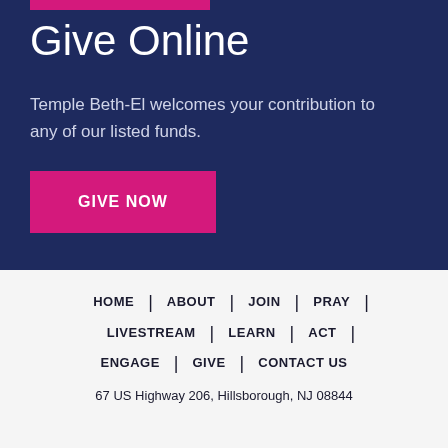Give Online
Temple Beth-El welcomes your contribution to any of our listed funds.
GIVE NOW
HOME | ABOUT | JOIN | PRAY | LIVESTREAM | LEARN | ACT | ENGAGE | GIVE | CONTACT US
67 US Highway 206, Hillsborough, NJ 08844